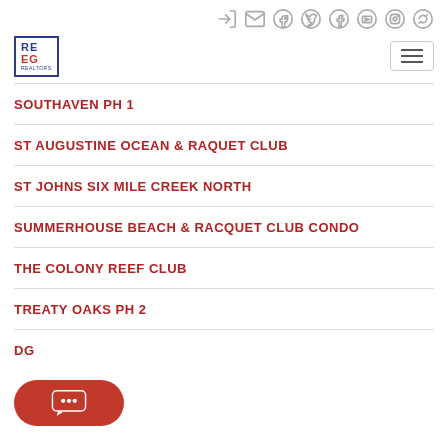[Figure (screenshot): Top navigation bar with social media icons: login, email, facebook, twitter, linkedin, youtube, instagram, pinterest]
[Figure (logo): REEG real estate logo in blue and red with company text below]
SOUTHAVEN PH 1
ST AUGUSTINE OCEAN & RAQUET CLUB
ST JOHNS SIX MILE CREEK NORTH
SUMMERHOUSE BEACH & RACQUET CLUB CONDO
THE COLONY REEF CLUB
TREATY OAKS PH 2
...DG
[Figure (illustration): Red chat bubble button with three dots indicating chat widget]